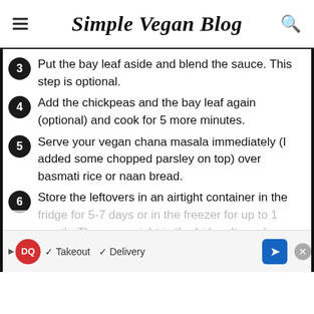Simple Vegan Blog
Put the bay leaf aside and blend the sauce. This step is optional.
Add the chickpeas and the bay leaf again (optional) and cook for 5 more minutes.
Serve your vegan chana masala immediately (I added some chopped parsley on top) over basmati rice or naan bread.
Store the leftovers in an airtight container in the fridge for 5-7 days or in the freezer for up to 1 month. Thaw overnight in the fridge. It can be reheated in the microwave or on the [cut off]